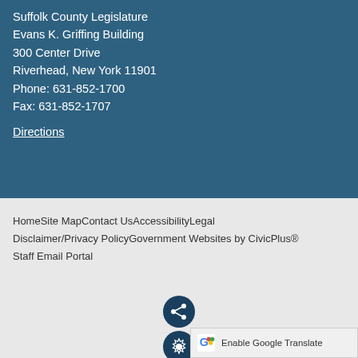Suffolk County Legislature
Evans K. Griffing Building
300 Center Drive
Riverhead, New York 11901
Phone: 631-852-1700
Fax: 631-852-1707
Directions
Home  Site Map  Contact Us  Accessibility  Legal Disclaimer/Privacy Policy  Government Websites by CivicPlus®  Staff Email Portal
[Figure (infographic): Two circular icon buttons: a share icon (network/share symbol) and a settings icon (gear symbol), both dark navy blue circles centered on the page footer area.]
[Figure (logo): Google Translate button with colorful G logo and text 'Enable Google Translate']